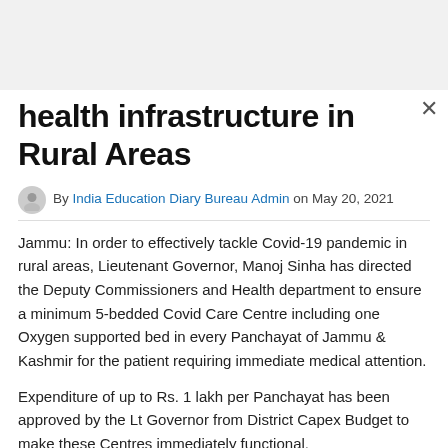health infrastructure in Rural Areas
By India Education Diary Bureau Admin on May 20, 2021
Jammu: In order to effectively tackle Covid-19 pandemic in rural areas, Lieutenant Governor, Manoj Sinha has directed the Deputy Commissioners and Health department to ensure a minimum 5-bedded Covid Care Centre including one Oxygen supported bed in every Panchayat of Jammu & Kashmir for the patient requiring immediate medical attention.
Expenditure of up to Rs. 1 lakh per Panchayat has been approved by the Lt Governor from District Capex Budget to make these Centres immediately functional.